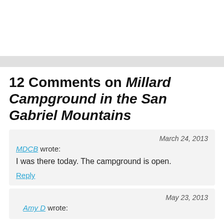12 Comments on Millard Campground in the San Gabriel Mountains
March 24, 2013
MDCB wrote:
I was there today. The campground is open.
Reply
May 23, 2013
Amy D wrote: